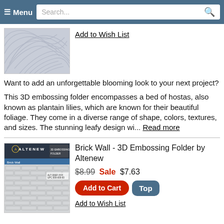≡ Menu  Search...
[Figure (photo): Embossing folder with leaf/hosta pattern texture in light gray]
Add to Wish List
Want to add an unforgettable blooming look to your next project?
This 3D embossing folder encompasses a bed of hostas, also known as plantain lilies, which are known for their beautiful foliage. They come in a diverse range of shape, colors, textures, and sizes. The stunning leafy design wi... Read more
[Figure (photo): Altenew Brick Wall 3D Embossing Folder product packaging showing brick wall texture pattern]
Brick Wall - 3D Embossing Folder by Altenew
$8.99 Sale $7.63
Add to Cart
Add to Wish List